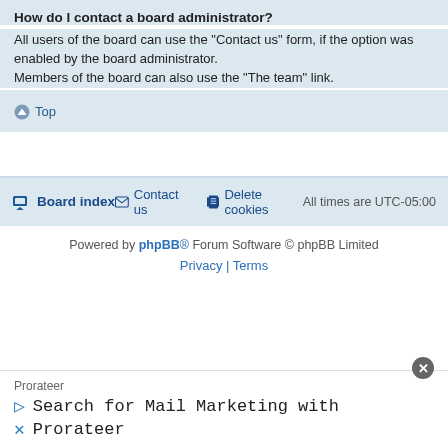How do I contact a board administrator?
All users of the board can use the "Contact us" form, if the option was enabled by the board administrator.
Members of the board can also use the "The team" link.
Top
Board index   Contact us   Delete cookies   All times are UTC-05:00
Powered by phpBB® Forum Software © phpBB Limited
Privacy | Terms
[Figure (infographic): Advertisement banner for Prorateer showing 'Search for Mail Marketing with Prorateer' with play and X icons]